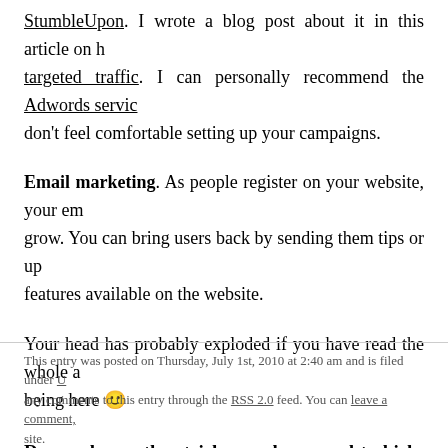StumbleUpon. I wrote a blog post about it in this article on how to get targeted traffic. I can personally recommend the Adwords service if you don't feel comfortable setting up your campaigns.
Email marketing. As people register on your website, your email list will grow. You can bring users back by sending them tips or updates about new features available on the website.
Your head has probably exploded if you have read the whole article. Thanks for being here 🙂
Do you have other tricks you have used to kick-start the traffic on your site?
This entry was posted on Thursday, July 1st, 2010 at 2:40 am and is filed under Uncategorized. You can follow any comments to this entry through the RSS 2.0 feed. You can leave a comment, or trackback from your own site.